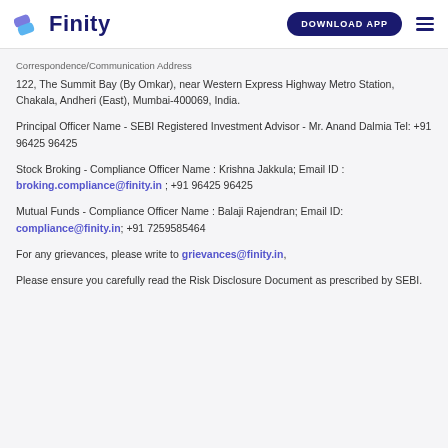Finity — DOWNLOAD APP
Correspondence/Communication Address
122, The Summit Bay (By Omkar), near Western Express Highway Metro Station, Chakala, Andheri (East), Mumbai-400069, India.
Principal Officer Name - SEBI Registered Investment Advisor - Mr. Anand Dalmia Tel: +91 96425 96425
Stock Broking - Compliance Officer Name : Krishna Jakkula; Email ID : broking.compliance@finity.in ; +91 96425 96425
Mutual Funds - Compliance Officer Name : Balaji Rajendran; Email ID: compliance@finity.in; +91 7259585464
For any grievances, please write to grievances@finity.in,
Please ensure you carefully read the Risk Disclosure Document as prescribed by SEBI.